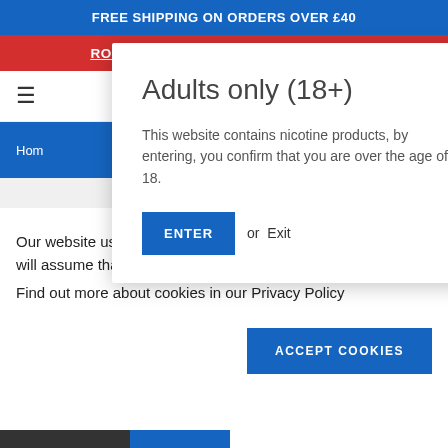FREE SHIPPING ON ORDERS OVER £40
ROYAL MAIL STRIKE ACTION DETAILS
[Figure (screenshot): Navigation bar with hamburger menu, search icon, user account icon, and shopping cart icon with badge showing 0]
Adults only (18+)
This website contains nicotine products, by entering, you confirm that you are over the age of 18.
ENTER  or  Exit
Our website use cookies. If you continue to use this site we will assume that you are happy with this.
Find out more about cookies in our Privacy Policy
ACCEPT COOKIES